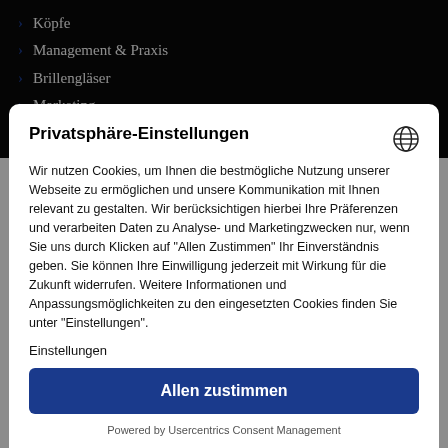> Köpfe
> Management & Praxis
> Brillengläser
> Marketing
> Fakten
Privatsphäre-Einstellungen
Wir nutzen Cookies, um Ihnen die bestmögliche Nutzung unserer Webseite zu ermöglichen und unsere Kommunikation mit Ihnen relevant zu gestalten. Wir berücksichtigen hierbei Ihre Präferenzen und verarbeiten Daten zu Analyse- und Marketingzwecken nur, wenn Sie uns durch Klicken auf "Allen Zustimmen" Ihr Einverständnis geben. Sie können Ihre Einwilligung jederzeit mit Wirkung für die Zukunft widerrufen. Weitere Informationen und Anpassungsmöglichkeiten zu den eingesetzten Cookies finden Sie unter "Einstellungen".
Einstellungen
Allen zustimmen
Powered by Usercentrics Consent Management